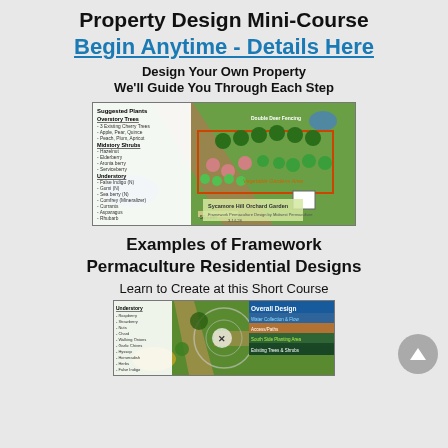Property Design Mini-Course
Begin Anytime - Details Here
Design Your Own Property
We'll Guide You Through Each Step
[Figure (photo): Aerial permaculture property design map labeled 'Sycamore Hill Orchard Garden' with suggested plants list overlay showing Overstory Trees, Midstory Shrubs, Understory plants, a north arrow, scale bar, and colorful vegetation zones including Vegetable Gardens Area and Double Deer Fencing.]
Examples of Framework
Permaculture Residential Designs
Learn to Create at this Short Course
[Figure (photo): Aerial permaculture residential design map showing Overall Design with legend: Water Collection & Flow, Access/Paths, South Side Planting Area, Existing Trees & Shrubs. Understory plant list on left. North arrow in center.]